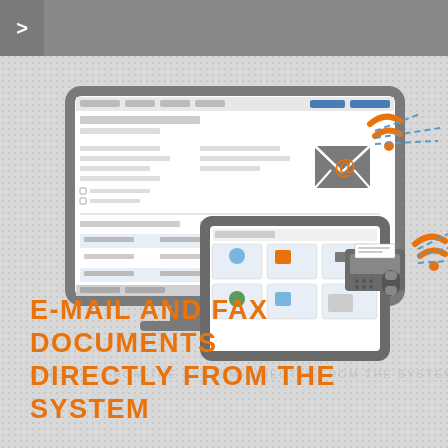[Figure (infographic): Navigation bar at top with dark gray background and a right-pointing arrow chevron icon on the left side]
[Figure (infographic): Infographic showing a desktop monitor displaying a software interface/document form, overlaid with a tablet showing an ERP/business system dashboard. To the right are icons: an envelope with @ symbol for email, orange WiFi/signal waves, and a fax machine icon with orange signal waves, plus blue dashed arrows pointing right — representing e-mail and fax document sending directly from the system.]
E-MAIL AND FAX DOCUMENTS DIRECTLY FROM THE SYSTEM